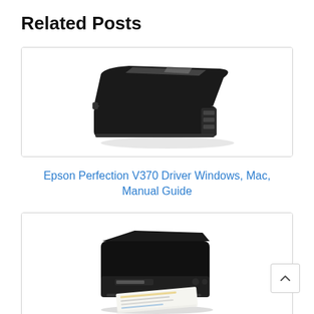Related Posts
[Figure (photo): Photo of an Epson Perfection V370 flatbed scanner, black color, viewed from above at an angle]
Epson Perfection V370 Driver Windows, Mac, Manual Guide
[Figure (photo): Photo of an Epson WorkForce WF-100 portable printer printing a document]
Epson WorkForce WF 100 Driver Windows, Mac,